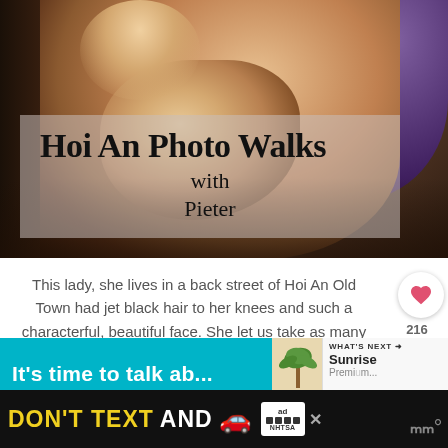[Figure (photo): Close-up portrait of an elderly Vietnamese woman with jet black hair and purple highlights, photographed in profile/three-quarter view against a dark background. Title overlay reads 'Hoi An Photo Walks with Pieter'.]
Hoi An Photo Walks with Pieter
This lady, she lives in a back street of Hoi An Old Town had jet black hair to her knees and such a characterful, beautiful face. She let us take as many photos as we needed.
[Figure (screenshot): Advertisement banner - teal colored ad saying 'It's time to talk ab...' with WHAT'S NEXT arrow and Sunrise Premium content. Bottom black bar ad: DON'T TEXT AND [car emoji] with NHTSA logo and ad badge.]